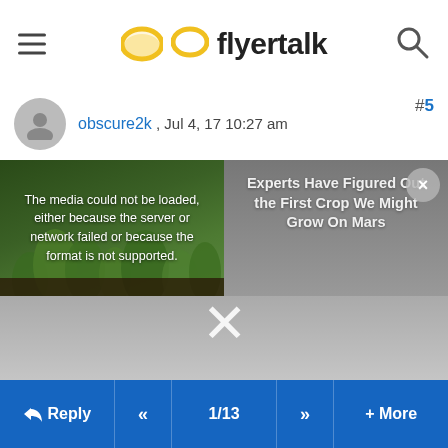flyertalk
obscure2k , Jul 4, 17 10:27 am
#5
[Figure (screenshot): Embedded video player showing a media load error: 'The media could not be loaded, either because the server or network failed or because the format is not supported.' Overlaid with close button (x) and a large X dismiss button. Right side shows text: 'Experts Have Figured Out the First Crop We Might Grow On Mars']
Reply  <<  1/13  >>  + More